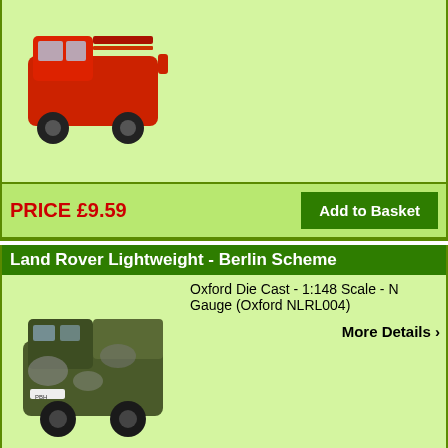[Figure (photo): Red Land Rover fire engine die cast model toy car, partial view from top of page]
PRICE £9.59
Add to Basket
Land Rover Lightweight - Berlin Scheme
[Figure (photo): Military camouflage Land Rover Lightweight die cast model in Berlin scheme colours (dark green and grey camo)]
Oxford Die Cast - 1:148 Scale - N Gauge (Oxford NLRL004)
More Details ›
PRICE £5.39
Add to Basket
Land Rover Lightweight - Gulf War
[Figure (photo): Land Rover Lightweight Gulf War die cast model, partial view at bottom of page]
Oxford Die Cast - 1:43 Scale (Oxford 43LRL008)